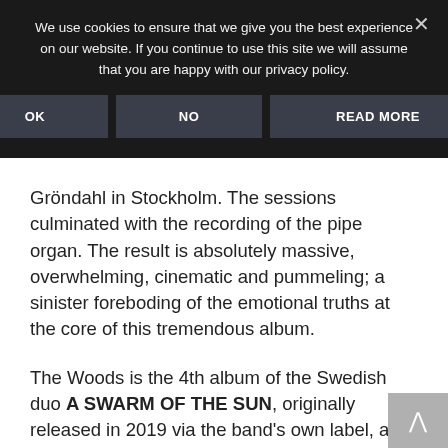We use cookies to ensure that we give you the best experience on our website. If you continue to use this site we will assume that you are happy with our privacy policy.
Gröndahl in Stockholm. The sessions culminated with the recording of the pipe organ. The result is absolutely massive, overwhelming, cinematic and pummeling; a sinister foreboding of the emotional truths at the core of this tremendous album.
The Woods is the 4th album of the Swedish duo A SWARM OF THE SUN, originally released in 2019 via the band's own label, and now reissued on vinyl via Pelagic. The album is the follow-up to the critically acclaimed 2015 release, The Rifts. The Woods surpasses on it's predecessor's signature sound of